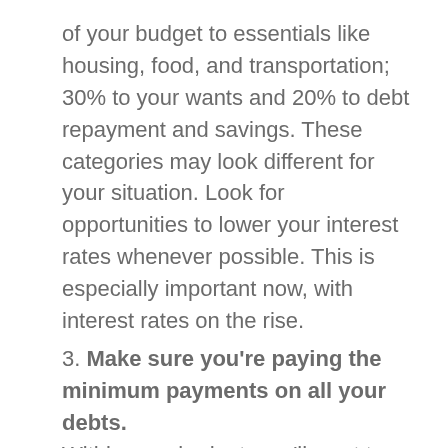of your budget to essentials like housing, food, and transportation; 30% to your wants and 20% to debt repayment and savings. These categories may look different for your situation. Look for opportunities to lower your interest rates whenever possible. This is especially important now, with interest rates on the rise.
3. Make sure you're paying the minimum payments on all your debts. Within your budget, you'll want to make absolutely certain that you're paying at the minimum payments for each credit card or expense that you're working on paying off. It may not pay off huge amounts of your debt, but it helps to keep your debt from ballooning like it would if you didn't pay at